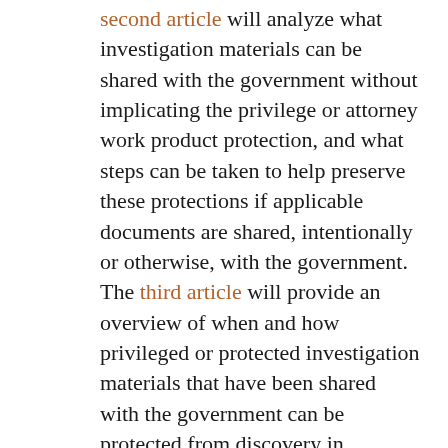second article will analyze what investigation materials can be shared with the government without implicating the privilege or attorney work product protection, and what steps can be taken to help preserve these protections if applicable documents are shared, intentionally or otherwise, with the government. The third article will provide an overview of when and how privileged or protected investigation materials that have been shared with the government can be protected from discovery in collateral litigation. For more on internal investigations, see “D.C. Circuit Confirms Applicability of Attorney-Client Privilege to Internal Investigations” (Aug. 7, 2014); and “For